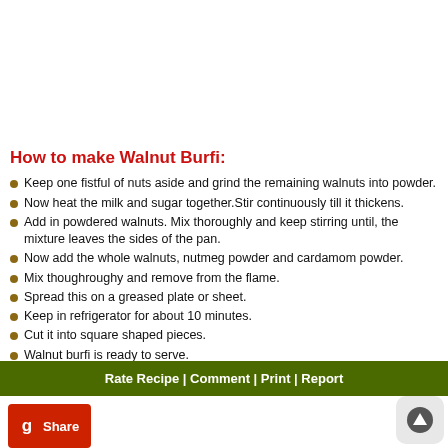How to make Walnut Burfi:
Keep one fistful of nuts aside and grind the remaining walnuts into powder.
Now heat the milk and sugar together.Stir continuously till it thickens.
Add in powdered walnuts. Mix thoroughly and keep stirring until, the mixture leaves the sides of the pan.
Now add the whole walnuts, nutmeg powder and cardamom powder.
Mix thoughroughy and remove from the flame.
Spread this on a greased plate or sheet.
Keep in refrigerator for about 10 minutes.
Cut it into square shaped pieces.
Walnut burfi is ready to serve.
Rate Recipe | Comment | Print | Report